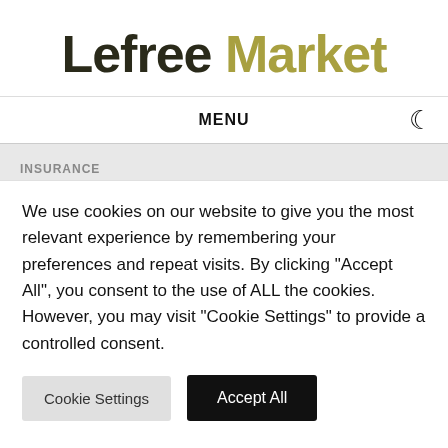Lefree Market
MENU
INSURANCE
We use cookies on our website to give you the most relevant experience by remembering your preferences and repeat visits. By clicking "Accept All", you consent to the use of ALL the cookies. However, you may visit "Cookie Settings" to provide a controlled consent.
Cookie Settings
Accept All